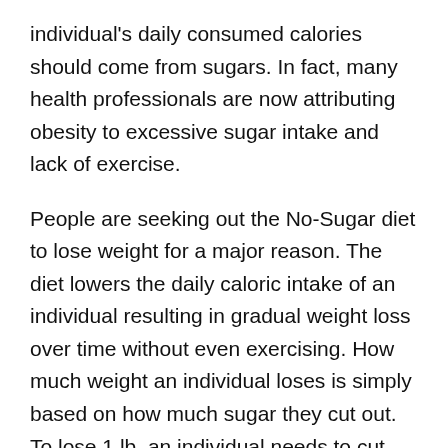individual's daily consumed calories should come from sugars. In fact, many health professionals are now attributing obesity to excessive sugar intake and lack of exercise.
People are seeking out the No-Sugar diet to lose weight for a major reason. The diet lowers the daily caloric intake of an individual resulting in gradual weight loss over time without even exercising. How much weight an individual loses is simply based on how much sugar they cut out. To lose 1 lb, an individual needs to cut back 3,500 calories. So, if you have a sweet tooth and are consuming at least 500 calories of sugar a day, then you could easily lose a lb a week by cutting sugar out of your diet.